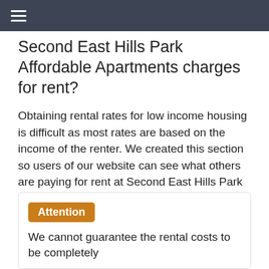≡
Second East Hills Park Affordable Apartments charges for rent?
Obtaining rental rates for low income housing is difficult as most rates are based on the income of the renter. We created this section so users of our website can see what others are paying for rent at Second East Hills Park Affordable Apartments.
Attention We cannot guarantee the rental costs to be completely